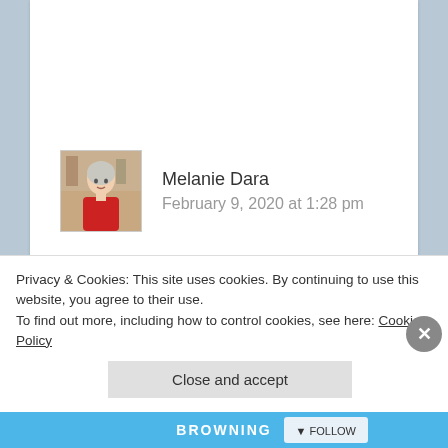[Figure (photo): Avatar photo of Melanie Dara, a woman in a red top, small square thumbnail]
Melanie Dara
February 9, 2020 at 1:28 pm
Bev, We met at the Thumb FiberFestival this past year. I have a question about some yarn I purchased. Hand Dyed Sock Yarn. It says
Privacy & Cookies: This site uses cookies. By continuing to use this website, you agree to their use.
To find out more, including how to control cookies, see here: Cookie Policy
Close and accept